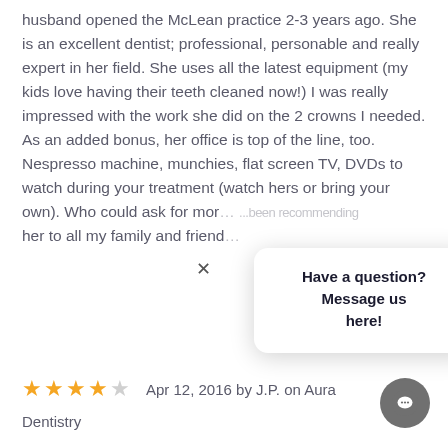husband opened the McLean practice 2-3 years ago. She is an excellent dentist; professional, personable and really expert in her field. She uses all the latest equipment (my kids love having their teeth cleaned now!) I was really impressed with the work she did on the 2 crowns I needed. As an added bonus, her office is top of the line, too. Nespresso machine, munchies, flat screen TV, DVDs to watch during your treatment (watch hers or bring your own). Who could ask for mor... ...been recommending her to all my family and friend...
[Figure (other): Chat popup overlay with close button (×) and text 'Have a question? Message us here!']
★★★★☆  Apr 12, 2016 by J.P. on Aura
Dentistry